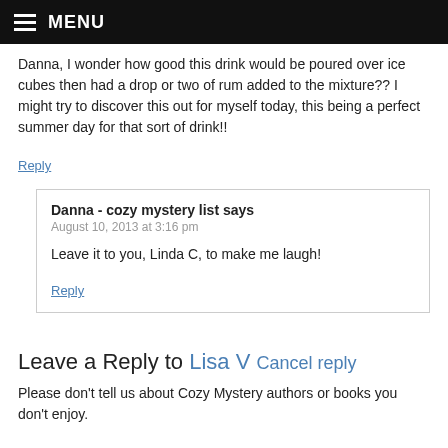MENU
Danna, I wonder how good this drink would be poured over ice cubes then had a drop or two of rum added to the mixture?? I might try to discover this out for myself today, this being a perfect summer day for that sort of drink!!
Reply
Danna - cozy mystery list says
August 10, 2013 at 3:16 pm
Leave it to you, Linda C, to make me laugh!
Reply
Leave a Reply to Lisa V Cancel reply
Please don't tell us about Cozy Mystery authors or books you don't enjoy.